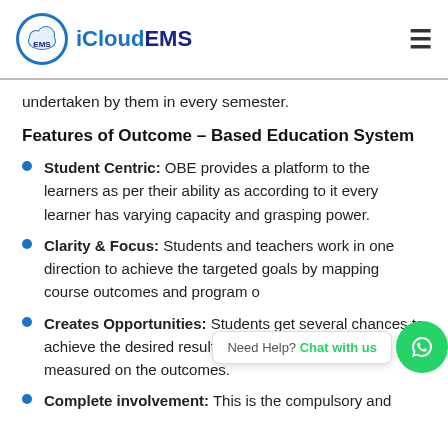iCloudEMS
undertaken by them in every semester.
Features of Outcome – Based Education System
Student Centric: OBE provides a platform to the learners as per their ability as according to it every learner has varying capacity and grasping power.
Clarity & Focus: Students and teachers work in one direction to achieve the targeted goals by mapping course outcomes and program o...
Creates Opportunities: Students get several chances to achieve the desired results. Their marks are purely measured on the outcomes.
Complete involvement: This is the compulsory and